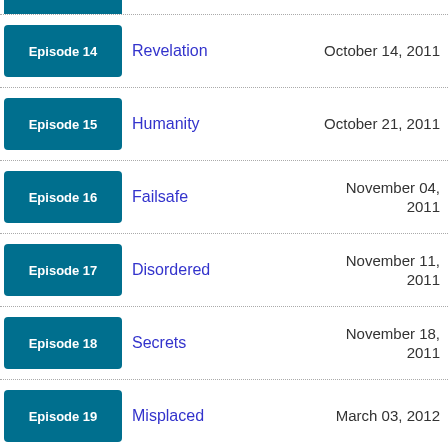Episode 14 | Revelation | October 14, 2011
Episode 15 | Humanity | October 21, 2011
Episode 16 | Failsafe | November 04, 2011
Episode 17 | Disordered | November 11, 2011
Episode 18 | Secrets | November 18, 2011
Episode 19 | Misplaced | March 03, 2012
Episode 20 | Coldhearted | March 10, 2012